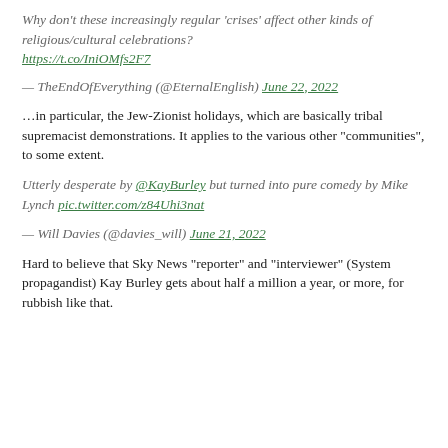Why don't these increasingly regular 'crises' affect other kinds of religious/cultural celebrations? https://t.co/IniOMfs2F7
— TheEndOfEverything (@EternalEnglish) June 22, 2022
...in particular, the Jew-Zionist holidays, which are basically tribal supremacist demonstrations. It applies to the various other "communities", to some extent.
Utterly desperate by @KayBurley but turned into pure comedy by Mike Lynch pic.twitter.com/z84Uhi3nat
— Will Davies (@davies_will) June 21, 2022
Hard to believe that Sky News "reporter" and "interviewer" (System propagandist) Kay Burley gets about half a million a year, or more, for rubbish like that.